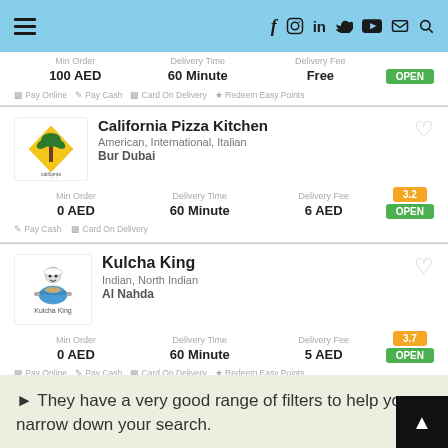Navigation header with hamburger menu and social icons (f, Instagram, in, YouTube, mail, search)
100 AED  60 Minute  Free  OPEN
Pay Online  Pay Cash  Card On Delivery  Redeem Easy Points
California Pizza Kitchen
American, International, Italian
Bur Dubai
Min Order 0 AED  Delivery Time 60 Minute  Delivery Fee 6 AED  Rating 3.2  OPEN
Pay Cash  Card On Delivery
Kulcha King
Indian, North Indian
Al Nahda
Min Order 0 AED  Delivery Time 60 Minute  Delivery Fee 5 AED  Rating 3.7  OPEN
Pay Online  Pay Cash  Card On Delivery  Redeem Easy Points
▶ They have a very good range of filters to help you narrow down your search.